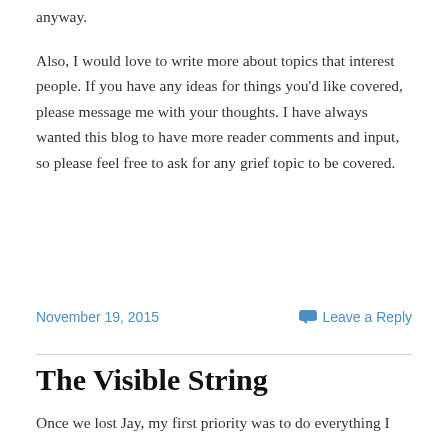anyway.
Also, I would love to write more about topics that interest people. If you have any ideas for things you'd like covered, please message me with your thoughts. I have always wanted this blog to have more reader comments and input, so please feel free to ask for any grief topic to be covered.
November 19, 2015
Leave a Reply
The Visible String
Once we lost Jay, my first priority was to do everything I